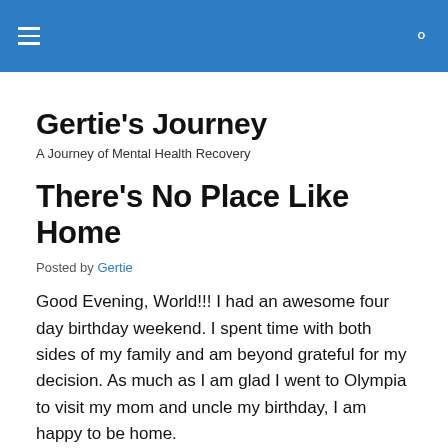≡  🔍
Gertie's Journey
A Journey of Mental Health Recovery
There's No Place Like Home
Posted by Gertie
Good Evening, World!!! I had an awesome four day birthday weekend. I spent time with both sides of my family and am beyond grateful for my decision. As much as I am glad I went to Olympia to visit my mom and uncle my birthday, I am happy to be home.
Last Friday, I celebrated my birthday with my dad, grandpa